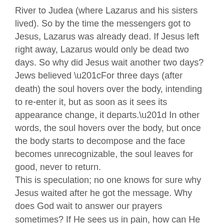River to Judea (where Lazarus and his sisters lived). So by the time the messengers got to Jesus, Lazarus was already dead. If Jesus left right away, Lazarus would only be dead two days. So why did Jesus wait another two days?
Jews believed “For three days (after death) the soul hovers over the body, intending to re-enter it, but as soon as it sees its appearance change, it departs.” In other words, the soul hovers over the body, but once the body starts to decompose and the face becomes unrecognizable, the soul leaves for good, never to return.
This is speculation; no one knows for sure why Jesus waited after he got the message. Why does God wait to answer our prayers sometimes? If He sees us in pain, how can He sit back and do nothing?
Better things await those who wait on the Lord.
You ever bake a cake? You know how it smells so